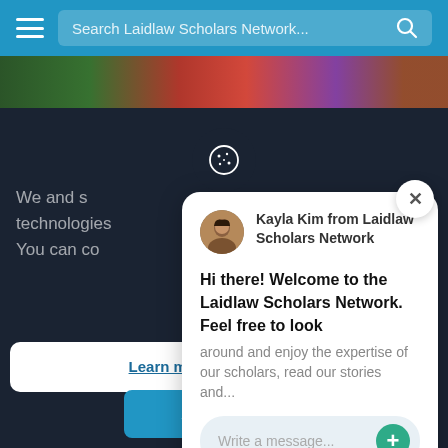[Figure (screenshot): Navigation bar of Laidlaw Scholars Network with hamburger menu icon and search field showing 'Search Laidlaw Scholars Network...' placeholder text and a search icon]
We and s technologies
You can co
[Figure (screenshot): Chat popup from Kayla Kim from Laidlaw Scholars Network saying: Hi there! Welcome to the Laidlaw Scholars Network. Feel free to look around and enjoy the expertise of our scholars, read our stories and more. With a message input field at bottom.]
Learn more and customise
Accept All